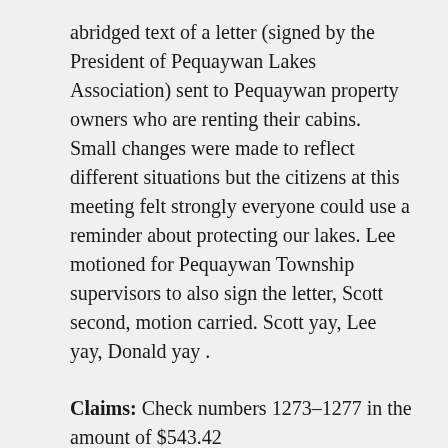abridged text of a letter (signed by the President of Pequaywan Lakes Association) sent to Pequaywan property owners who are renting their cabins. Small changes were made to reflect different situations but the citizens at this meeting felt strongly everyone could use a reminder about protecting our lakes. Lee motioned for Pequaywan Township supervisors to also sign the letter, Scott second, motion carried. Scott yay, Lee yay, Donald yay .
Claims: Check numbers 1273-1277 in the amount of $543.42
Correspondence